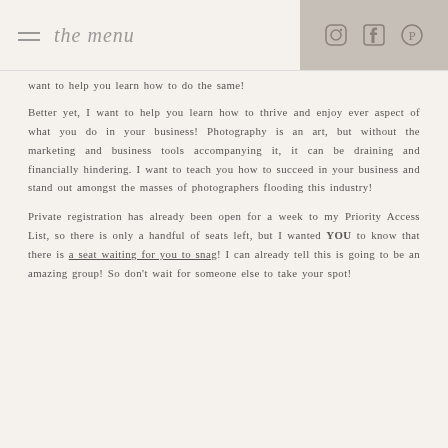the menu — [hamburger icon] [instagram icon] [facebook icon] [pinterest icon]
want to help you learn how to do the same!
Better yet, I want to help you learn how to thrive and enjoy ever aspect of what you do in your business! Photography is an art, but without the marketing and business tools accompanying it, it can be draining and financially hindering. I want to teach you how to succeed in your business and stand out amongst the masses of photographers flooding this industry!
Private registration has already been open for a week to my Priority Access List, so there is only a handful of seats left, but I wanted YOU to know that there is a seat waiting for you to snag! I can already tell this is going to be an amazing group! So don't wait for someone else to take your spot!